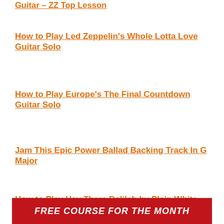Guitar – ZZ Top Lesson
How to Play Led Zeppelin's Whole Lotta Love Guitar Solo
How to Play Europe's The Final Countdown Guitar Solo
Jam This Epic Power Ballad Backing Track In G Major
How to Play Hey There Delilah by Plain White T's
How to Play Cissy Strut by The Meters
FREE COURSE FOR THE MONTH